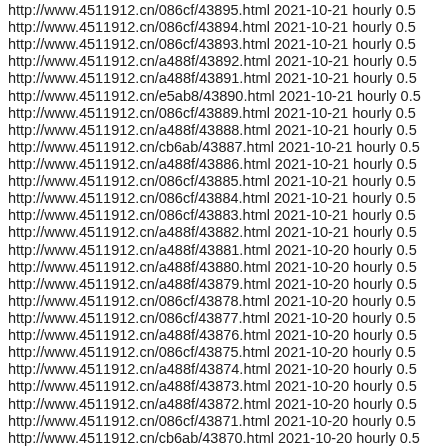http://www.4511912.cn/086cf/43895.html 2021-10-21 hourly 0.5
http://www.4511912.cn/086cf/43894.html 2021-10-21 hourly 0.5
http://www.4511912.cn/086cf/43893.html 2021-10-21 hourly 0.5
http://www.4511912.cn/a488f/43892.html 2021-10-21 hourly 0.5
http://www.4511912.cn/a488f/43891.html 2021-10-21 hourly 0.5
http://www.4511912.cn/e5ab8/43890.html 2021-10-21 hourly 0.5
http://www.4511912.cn/086cf/43889.html 2021-10-21 hourly 0.5
http://www.4511912.cn/a488f/43888.html 2021-10-21 hourly 0.5
http://www.4511912.cn/cb6ab/43887.html 2021-10-21 hourly 0.5
http://www.4511912.cn/a488f/43886.html 2021-10-21 hourly 0.5
http://www.4511912.cn/086cf/43885.html 2021-10-21 hourly 0.5
http://www.4511912.cn/086cf/43884.html 2021-10-21 hourly 0.5
http://www.4511912.cn/086cf/43883.html 2021-10-21 hourly 0.5
http://www.4511912.cn/a488f/43882.html 2021-10-21 hourly 0.5
http://www.4511912.cn/a488f/43881.html 2021-10-20 hourly 0.5
http://www.4511912.cn/a488f/43880.html 2021-10-20 hourly 0.5
http://www.4511912.cn/a488f/43879.html 2021-10-20 hourly 0.5
http://www.4511912.cn/086cf/43878.html 2021-10-20 hourly 0.5
http://www.4511912.cn/086cf/43877.html 2021-10-20 hourly 0.5
http://www.4511912.cn/a488f/43876.html 2021-10-20 hourly 0.5
http://www.4511912.cn/086cf/43875.html 2021-10-20 hourly 0.5
http://www.4511912.cn/a488f/43874.html 2021-10-20 hourly 0.5
http://www.4511912.cn/a488f/43873.html 2021-10-20 hourly 0.5
http://www.4511912.cn/a488f/43872.html 2021-10-20 hourly 0.5
http://www.4511912.cn/086cf/43871.html 2021-10-20 hourly 0.5
http://www.4511912.cn/cb6ab/43870.html 2021-10-20 hourly 0.5